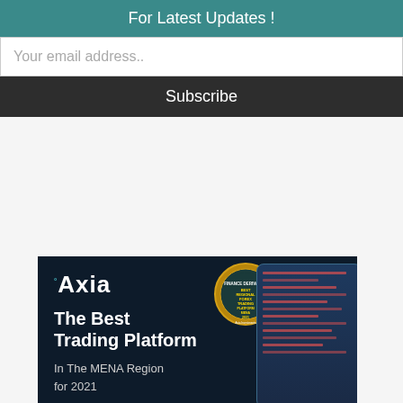For Latest Updates !
Your email address..
Subscribe
[Figure (illustration): Axia Investments advertisement banner with dark background showing the Axia logo, a Finance Derivative Awards badge medal, a smartphone displaying a trading platform interface, and text reading 'The Best Trading Platform In The MENA Region for 2021']